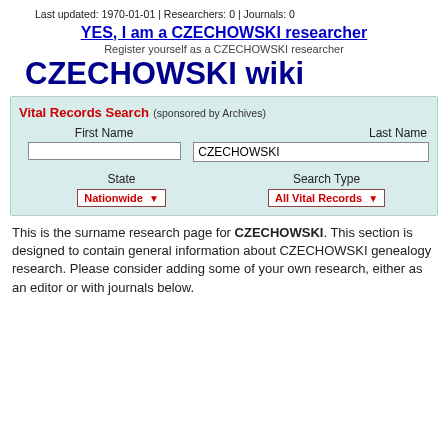Last updated: 1970-01-01 | Researchers: 0 | Journals: 0
YES, I am a CZECHOWSKI researcher
Register yourself as a CZECHOWSKI researcher
CZECHOWSKI wiki
Vital Records Search (sponsored by Archives)
First Name | Last Name | [input fields] | State: Nationwide | Search Type: All Vital Records
This is the surname research page for CZECHOWSKI. This section is designed to contain general information about CZECHOWSKI genealogy research. Please consider adding some of your own research, either as an editor or with journals below.